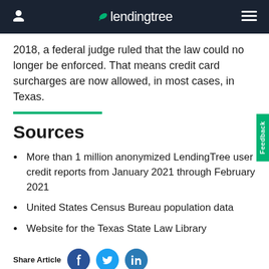LendingTree
2018, a federal judge ruled that the law could no longer be enforced. That means credit card surcharges are now allowed, in most cases, in Texas.
Sources
More than 1 million anonymized LendingTree user credit reports from January 2021 through February 2021
United States Census Bureau population data
Website for the Texas State Law Library
Share Article